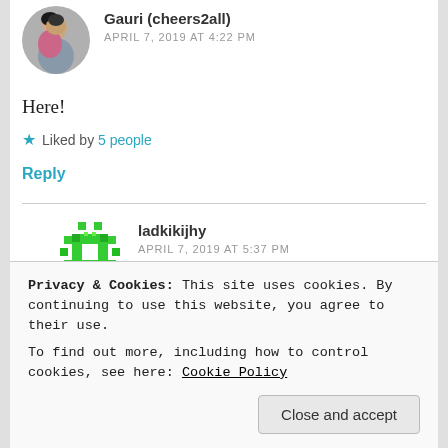[Figure (photo): Circular avatar photo showing two people, a woman and a man, posing together]
Gauri (cheers2all)
APRIL 7, 2019 AT 4:22 PM
Here!
★ Liked by 5 people
Reply
[Figure (illustration): Green pixel/geometric square avatar icon for ladkikijhy]
ladkikijhy
APRIL 7, 2019 AT 5:37 PM
Privacy & Cookies: This site uses cookies. By continuing to use this website, you agree to their use.
To find out more, including how to control cookies, see here: Cookie Policy
Close and accept